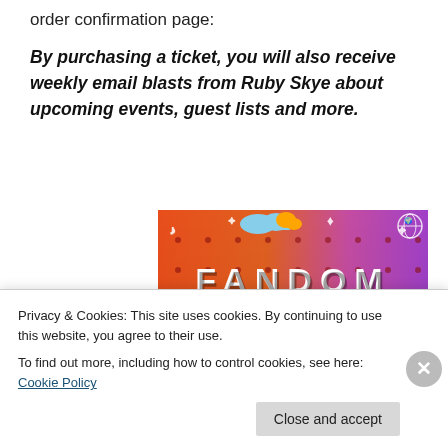order confirmation page:
By purchasing a ticket, you will also receive weekly email blasts from Ruby Skye about upcoming events, guest lists and more.
[Figure (illustration): Colorful promotional image for 'Fandom on Tumblr' event with orange-to-purple gradient background, white doodle icons and text reading FANDOM ON tumblr in bold stylized letters]
Privacy & Cookies: This site uses cookies. By continuing to use this website, you agree to their use.
To find out more, including how to control cookies, see here: Cookie Policy